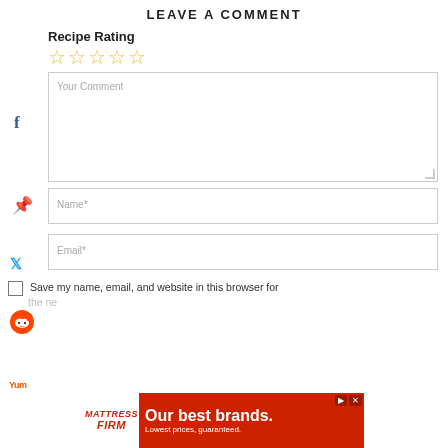LEAVE A COMMENT
Recipe Rating
☆☆☆☆☆
Your Comment
Name*
Email*
Save my name, email, and website in this browser for the ne...
[Figure (other): Mattress Firm advertisement banner: 'Our best brands. Lowest prices, guaranteed.']